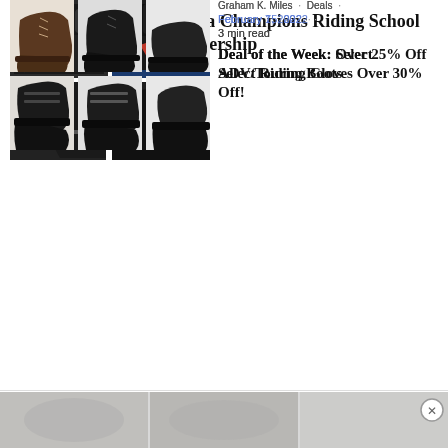Dainese Gear for Yamaha Champions Riding School in New Multi-Year Partnership
[Figure (photo): Two motorcycle gloves shown in grid layout — dark leather glove on left and black glove with red/blue accents on right, plus additional detail shots below]
Graham K. Miles · Deals ·
February 7, 2022 ·
3 min read
Deal of the Week: Select ADV/Touring Gloves Over 30% Off!
[Figure (photo): Multiple motorcycle riding boots shown in a grid — brown/black boots, black ankle boots, and black high-top shoes across two rows]
Graham K. Miles · Deals ·
February 15, 2022 ·
3 min read
Deal of the Week: Over 25% Off Select Riding Boots
[Figure (photo): Advertisement banner at bottom showing motorcycle gear images in grayscale with a close button]